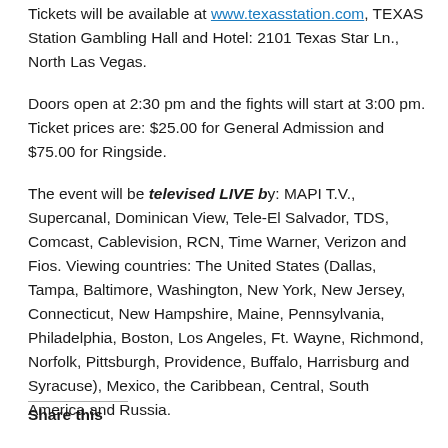Tickets will be available at www.texasstation.com, TEXAS Station Gambling Hall and Hotel: 2101 Texas Star Ln., North Las Vegas.
Doors open at 2:30 pm and the fights will start at 3:00 pm. Ticket prices are: $25.00 for General Admission and $75.00 for Ringside.
The event will be televised LIVE by: MAPI T.V., Supercanal, Dominican View, Tele-El Salvador, TDS, Comcast, Cablevision, RCN, Time Warner, Verizon and Fios. Viewing countries: The United States (Dallas, Tampa, Baltimore, Washington, New York, New Jersey, Connecticut, New Hampshire, Maine, Pennsylvania, Philadelphia, Boston, Los Angeles, Ft. Wayne, Richmond, Norfolk, Pittsburgh, Providence, Buffalo, Harrisburg and Syracuse), Mexico, the Caribbean, Central, South America and Russia.